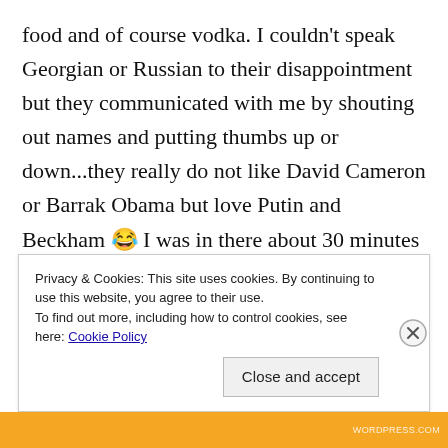food and of course vodka. I couldn't speak Georgian or Russian to their disappointment but they communicated with me by shouting out names and putting thumbs up or down...they really do not like David Cameron or Barrak Obama but love Putin and Beckham 😂 I was in there about 30 minutes had too many shots even though I tried to refuse and when I got up to leave I was all over the shop...couldn't walk in a straight line and was pretty drunk setting my tent up in the pitch black in amongst some random shrubs...it was awful and I vowed not to accept
Privacy & Cookies: This site uses cookies. By continuing to use this website, you agree to their use.
To find out more, including how to control cookies, see here: Cookie Policy
Close and accept